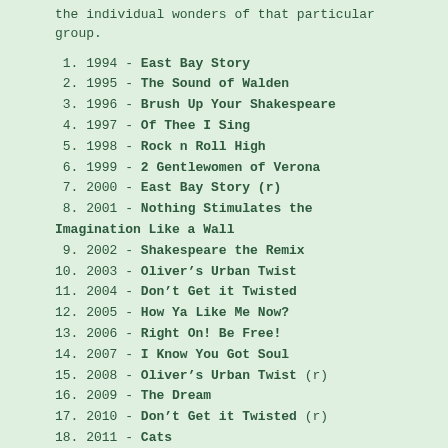the individual wonders of that particular group.
1. 1994 - East Bay Story
2. 1995 - The Sound of Walden
3. 1996 - Brush Up Your Shakespeare
4. 1997 - Of Thee I Sing
5. 1998 - Rock n Roll High
6. 1999 - 2 Gentlewomen of Verona
7. 2000 - East Bay Story (r)
8. 2001 - Nothing Stimulates the Imagination Like a Wall
9. 2002 - Shakespeare the Remix
10. 2003 - Oliver’s Urban Twist
11. 2004 - Don’t Get it Twisted
12. 2005 - How Ya Like Me Now?
13. 2006 - Right On! Be Free!
14. 2007 - I Know You Got Soul
15. 2008 - Oliver’s Urban Twist (r)
16. 2009 - The Dream
17. 2010 - Don’t Get it Twisted (r)
18. 2011 - Cats